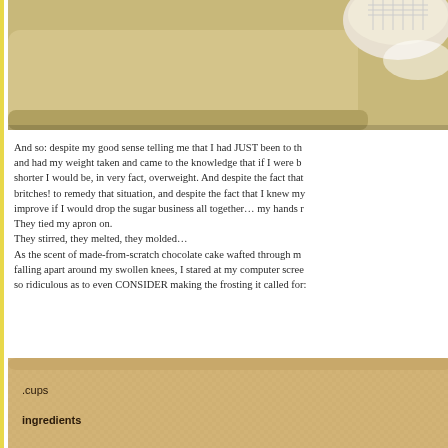[Figure (photo): Top portion of a photo showing a kitchen countertop scene with what appears to be a mixing bowl or kitchen equipment on a tan/beige surface]
And so: despite my good sense telling me that I had JUST been to th and had my weight taken and came to the knowledge that if I were b shorter I would be, in very fact, overweight. And despite the fact that britches! to remedy that situation, and despite the fact that I knew my improve if I would drop the sugar business all together… my hands r They tied my apron on.
They stirred, they melted, they molded…
As the scent of made-from-scratch chocolate cake wafted through m falling apart around my swollen knees, I stared at my computer scree so ridiculous as to even CONSIDER making the frosting it called for:
[Figure (photo): Bottom portion showing a recipe card or text on a tan/beige woven or textured background with text reading 'cups' and 'ingredients']